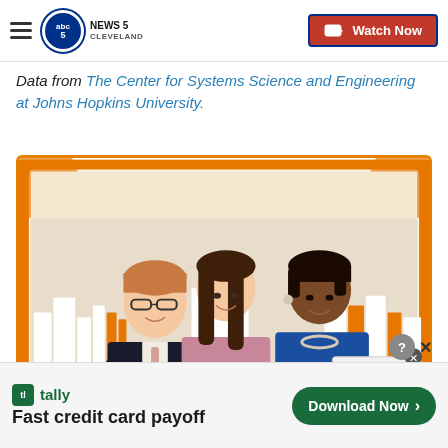NEWS 5 CLEVELAND | Watch Now
Data from The Center for Systems Science and Engineering at Johns Hopkins University.
[Figure (photo): News 5 Cleveland promotional image showing three news anchors (a man in a suit, a woman in pink, and a woman in blue) with an orange and white city skyline graphic background. A 'CLOSE' button overlay appears at bottom right.]
[Figure (screenshot): Tally advertisement banner: 'Fast credit card payoff' with green Download Now button and question/close icons.]